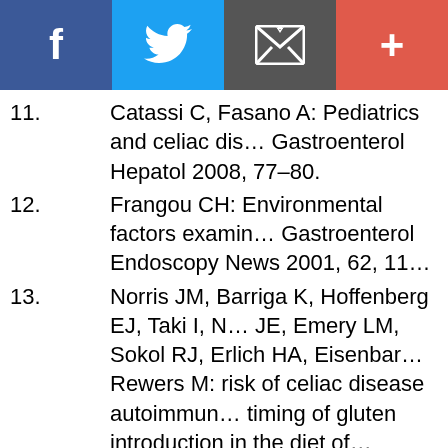[Figure (other): Social sharing bar with four buttons: Facebook (dark blue with f), Twitter (light blue with bird icon), Email (dark gray with envelope icon), More (red-orange with plus sign)]
11. Catassi C, Fasano A: Pediatrics and celiac dis... Gastroenterol Hepatol 2008, 77–80.
12. Frangou CH: Environmental factors examin... Gastroenterol Endoscopy News 2001, 62, 11...
13. Norris JM, Barriga K, Hoffenberg EJ, Taki I, N... JE, Emery LM, Sokol RJ, Erlich HA, Eisenbar... Rewers M: risk of celiac disease autoimmun... timing of gluten introduction in the diet of... increased risk of disease. JAMA 2005, 293, 2...
14. Akobeng AK, Ramanan AV, Buchan I, Heller... breast feeding on risk of coeliac disease: a s... review and meta-analysis of observational s... Dis Child 2006, 91, 39–43.
15. Decker E, Engelmann G, Findeisen A, Gerne... Ney D, Posovszky C, Hoy L, Hornef MW: Cesa... is associated with celiac disease but not inf...